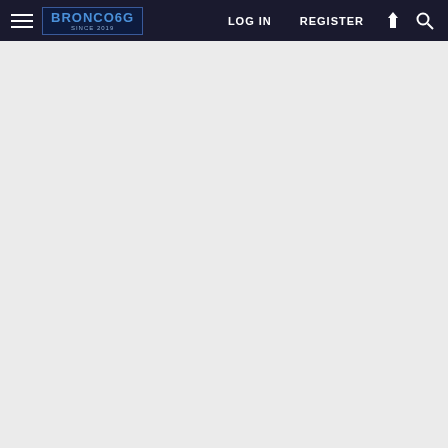BRONCO6G.COM — LOG IN   REGISTER
[Figure (screenshot): Empty content area with light gray background below the navigation bar]